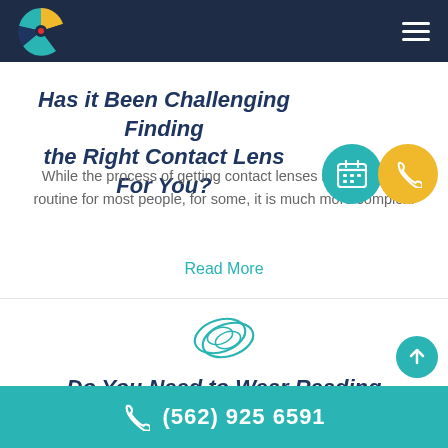Has it Been Challenging Finding the Right Contact Lens For You?
While the process of getting contact lenses is simple and routine for most people, for some, it is much more complex.
Read More
[Figure (illustration): Contact lens icon — two stacked contact lens shapes drawn in teal outline]
Do You Need to Wear Reading
(562) 925 6591